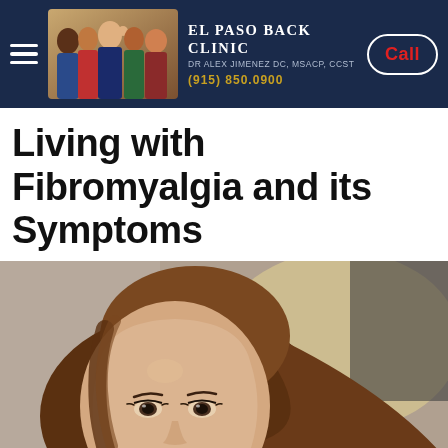El Paso Back Clinic | Dr Alex Jimenez DC, MSACP, CCST | (915) 850.0900 | Call
Living with Fibromyalgia and its Symptoms
[Figure (photo): Close-up portrait photo of a young woman with long brown hair, looking upward with a pensive expression, lying down against a light/blurred background]